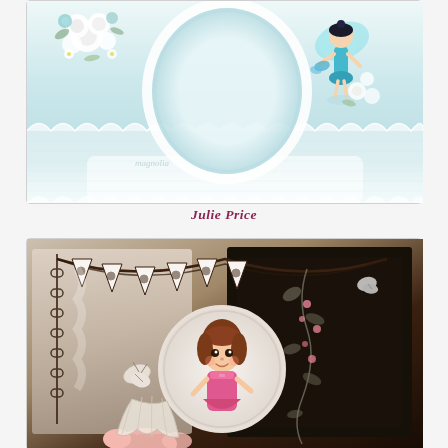[Figure (photo): Handmade fairy-themed greeting card with a standing fairy figure in teal blue dress and wings, surrounded by white lace, white flowers, and a decorated oval frame on a light blue background.]
Julie Price
[Figure (photo): Handmade dark scrapbook-style card featuring a girl with brown hair in a pink dress, butterflies, bunting banner with heart cutouts, dark brown layered panels, and floral embellishments on black and brown patterned backgrounds.]